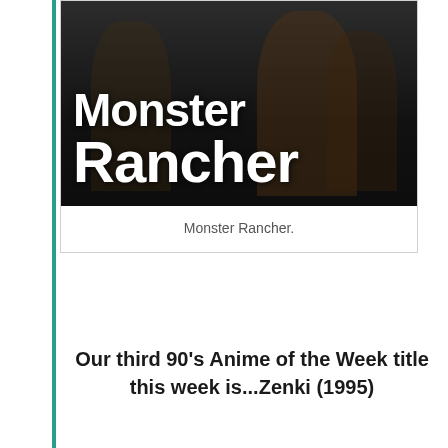[Figure (illustration): Book/media cover image for Monster Rancher showing large white bold text 'Monster Rancher' on a dark background with anime character silhouettes]
Monster Rancher.
Our third 90's Anime of the Week title this week is...Zenki (1995)
A classic 95' anime title that tells the story of a demon guardian spirit used to defeat Karuma; who is a demon goddess, by the master of the...